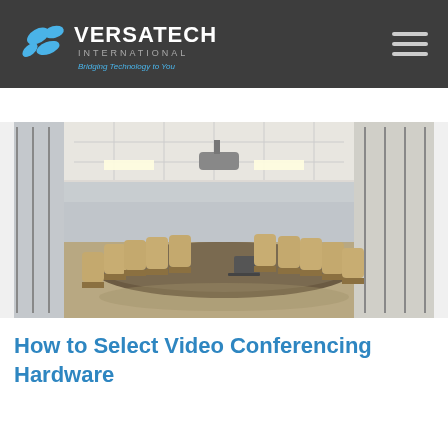VERSATECH INTERNATIONAL — Bridging Technology to You
[Figure (photo): Conference room with a long wooden table, tan leather chairs, a projector, and floor-to-ceiling windows overlooking a cityscape]
How to Select Video Conferencing Hardware